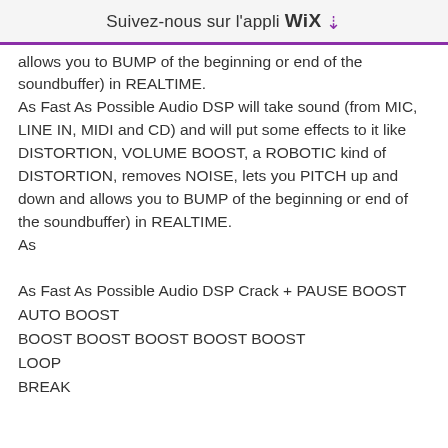Suivez-nous sur l'appli WIX ⬇
allows you to BUMP of the beginning or end of the soundbuffer) in REALTIME.
As Fast As Possible Audio DSP will take sound (from MIC, LINE IN, MIDI and CD) and will put some effects to it like DISTORTION, VOLUME BOOST, a ROBOTIC kind of DISTORTION, removes NOISE, lets you PITCH up and down and allows you to BUMP of the beginning or end of the soundbuffer) in REALTIME.
As
As Fast As Possible Audio DSP Crack + PAUSE BOOST
AUTO BOOST
BOOST BOOST BOOST BOOST BOOST
LOOP
BREAK